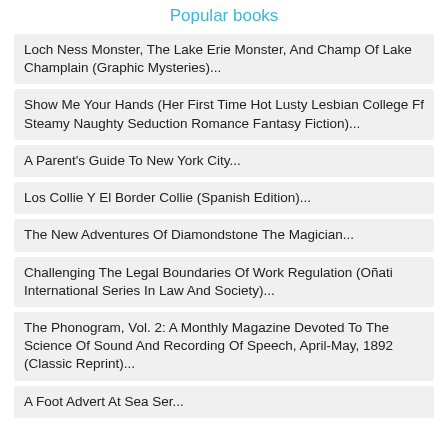Popular books
Loch Ness Monster, The Lake Erie Monster, And Champ Of Lake Champlain (Graphic Mysteries)...
Show Me Your Hands (Her First Time Hot Lusty Lesbian College Ff Steamy Naughty Seduction Romance Fantasy Fiction)...
A Parent's Guide To New York City...
Los Collie Y El Border Collie (Spanish Edition)...
The New Adventures Of Diamondstone The Magician...
Challenging The Legal Boundaries Of Work Regulation (Oñati International Series In Law And Society)...
The Phonogram, Vol. 2: A Monthly Magazine Devoted To The Science Of Sound And Recording Of Speech, April-May, 1892 (Classic Reprint)...
A Foot Advert At Sea Ser...